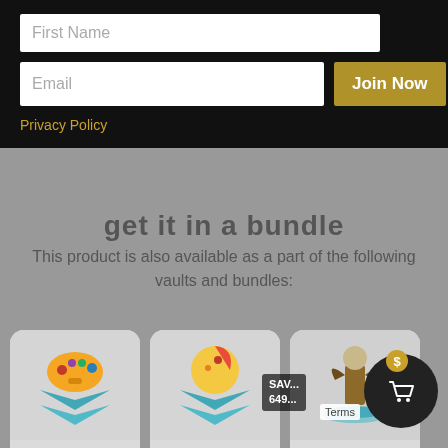First Name
Email
Join Now
Privacy Policy
get it in a bundle
This product is also available as a part of the following vaults and bundles:
[Figure (screenshot): Game Vault card with orange game controller illustration and teal chevron logo, showing 55 sources and product count]
Game Vault
55 sources
products
[Figure (screenshot): Master Vault card with pizza/food illustration and teal chevron logo, showing 119 sources and product count]
Master Vault
119 sources
products
[Figure (screenshot): Game Sources card with fantasy figurine illustration, showing SAVE 649 and price]
Game So...
SAV...
649
Terms